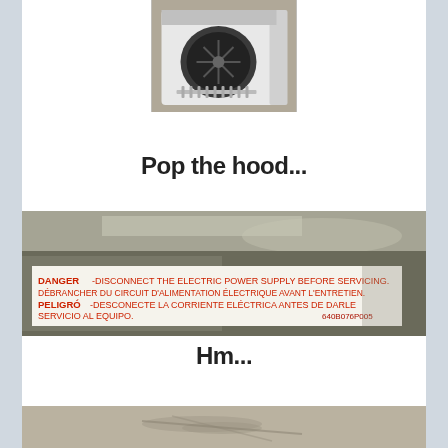[Figure (photo): Photo of a clothes dryer with the top panel removed, showing internal drum and fan components, white exterior]
Pop the hood...
[Figure (photo): Close-up photo of a warning label on metal surface reading: DANGER -DISCONNECT THE ELECTRIC POWER SUPPLY BEFORE SERVICING. DÉBRANCHER DU CIRCUIT D'ALIMENTATION ÉLECTRIQUE AVANT L'ENTRETIEN. PELIGRO -DESCONECTE LA CORRIENTE ELÉCTRICA ANTES DE DARLE SERVICIO AL EQUIPO. 640B076P005]
Hm...
[Figure (photo): Close-up photo of a surface with dust or debris, partial view]